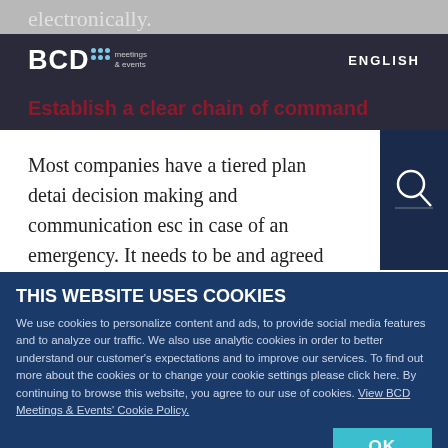electronically.
[Figure (logo): BCD Meetings & Events logo with dots, dark bar with ENGLISH label]
Establish a clear chain of command
Most companies have a tiered plan detai decision making and communication esc in case of an emergency. It needs to be and agreed upon as to who needs to be involved in any incident's resolution and
THIS WEBSITE USES COOKIES
We use cookies to personalize content and ads, to provide social media features and to analyze our traffic. We also use analytic cookies in order to better understand our customer's expectations and to improve our services. To find out more about the cookies or to change your cookie settings please click here. By continuing to browse this website, you agree to our use of cookies. View BCD Meetings & Events' Cookie Policy.
ESSENTIAL WEB COOKIES
PERFORMANCE AND FUNCTIONALITY COOKIES
ANALYTICS AND CUSTOMIZATION
ADVERTISING AND SOCIAL MEDIA COOKIES